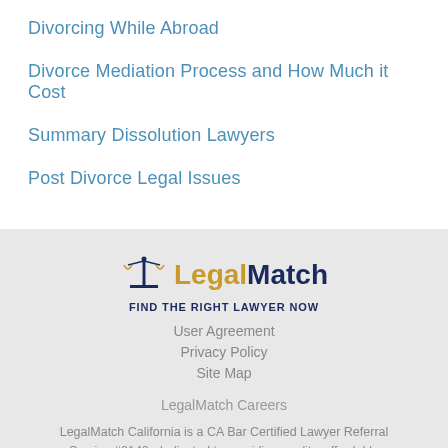Divorcing While Abroad
Divorce Mediation Process and How Much it Cost
Summary Dissolution Lawyers
Post Divorce Legal Issues
[Figure (logo): LegalMatch logo with scales of justice icon, tagline FIND THE RIGHT LAWYER NOW]
User Agreement
Privacy Policy
Site Map
LegalMatch Careers
LegalMatch California is a CA Bar Certified Lawyer Referral Service #0140, dedicated to providing quality, affordable attorneys. Serving all California Counties.
For technical help call (415) 946-3744